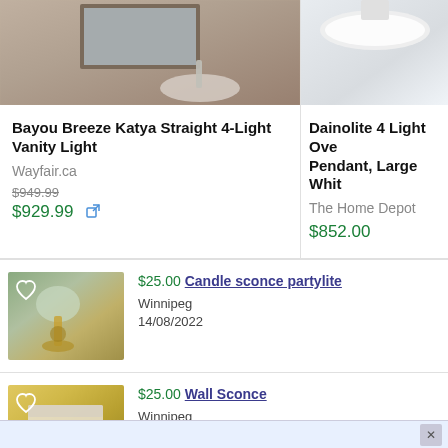[Figure (photo): Bathroom vanity mirror and sink product photo (cropped top), Bayou Breeze Katya Straight 4-Light Vanity Light]
Bayou Breeze Katya Straight 4-Light Vanity Light
Wayfair.ca
$949.99 $929.99
[Figure (photo): Ceiling light product photo (cropped), Dainolite 4 Light Ovale Pendant, Large White]
Dainolite 4 Light Ove... Pendant, Large Whit...
The Home Depot
$852.00
[Figure (photo): Candle sconce partylite listing thumbnail photo showing brass lamp]
$25.00 Candle sconce partylite
Winnipeg
14/08/2022
[Figure (photo): Wall Sconce listing thumbnail photo showing packaged wall sconce]
$25.00 Wall Sconce
Winnipeg
13/08/2022